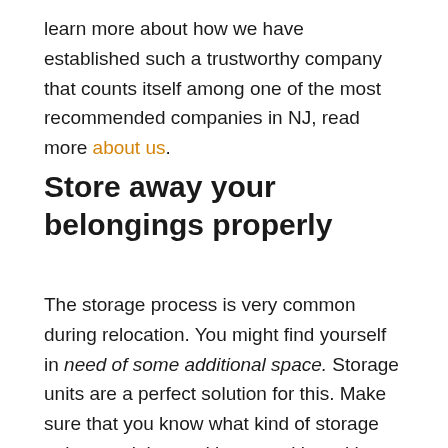learn more about how we have established such a trustworthy company that counts itself among one of the most recommended companies in NJ, read more about us.
Store away your belongings properly
The storage process is very common during relocation. You might find yourself in need of some additional space. Storage units are a perfect solution for this. Make sure that you know what kind of storage unit you might need by consulting with storage experts. Luckily, Highland Park movers can help you with that. Our storage services are of top quality and we will make sure